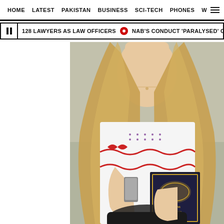HOME  LATEST  PAKISTAN  BUSINESS  SCI-TECH  PHONES  W
128 LAWYERS AS LAW OFFICERS  •  NAB'S CONDUCT 'PARALYSED' GOVT MACHINERY
[Figure (photo): A woman with long blonde hair wearing a white patterned sleeveless top with red embroidery, holding a mobile phone and The Holy Quran book, with a black bag visible at the bottom]